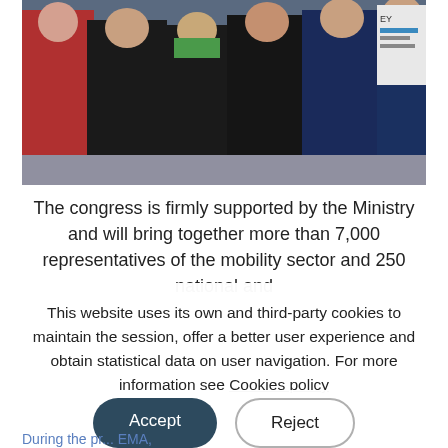[Figure (photo): Group photo of several people standing together at an event, some in formal attire, with a backdrop visible on the right side.]
The congress is firmly supported by the Ministry and will bring together more than 7,000 representatives of the mobility sector and 250 national and
This website uses its own and third-party cookies to maintain the session, offer a better user experience and obtain statistical data on user navigation. For more information see Cookies policy
During the pr... EMA, Minister D...